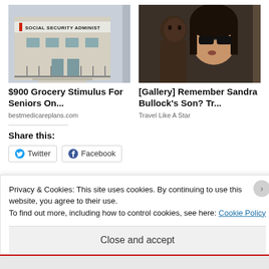[Figure (photo): Photo of Social Security Administration building exterior with sign reading 'SOCIAL SECURITY ADMINIST']
$900 Grocery Stimulus For Seniors On...
bestmedicareplans.com
[Figure (photo): Photo of Sandra Bullock wearing sunglasses with a young child]
[Gallery] Remember Sandra Bullock's Son? Tr...
Travel Like A Star
Share this:
Twitter
Facebook
Privacy & Cookies: This site uses cookies. By continuing to use this website, you agree to their use.
To find out more, including how to control cookies, see here: Cookie Policy
Close and accept